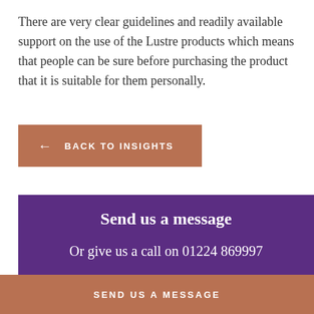There are very clear guidelines and readily available support on the use of the Lustre products which means that people can be sure before purchasing the product that it is suitable for them personally.
← BACK TO INSIGHTS
Send us a message
Or give us a call on 01224 869997
SEND US A MESSAGE